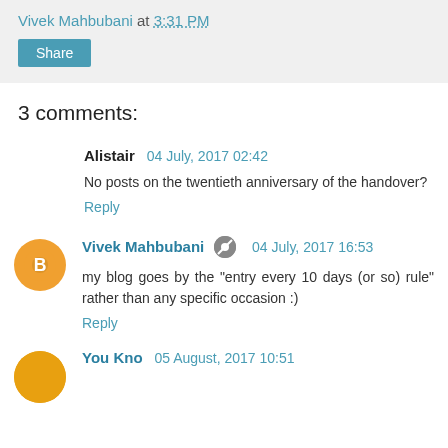Vivek Mahbubani at 3:31 PM
Share
3 comments:
Alistair  04 July, 2017 02:42
No posts on the twentieth anniversary of the handover?
Reply
Vivek Mahbubani  04 July, 2017 16:53
my blog goes by the "entry every 10 days (or so) rule" rather than any specific occasion :)
Reply
You Kno  05 August, 2017 10:51